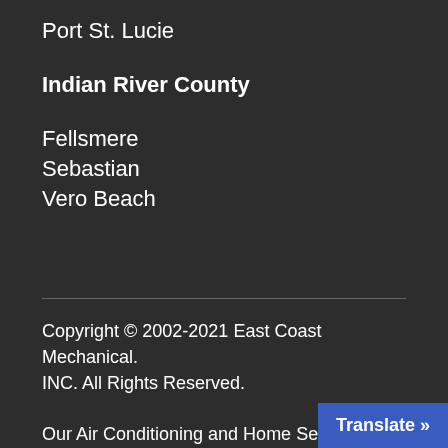Port St. Lucie
Indian River County
Fellsmere
Sebastian
Vero Beach
Copyright © 2002-2021 East Coast Mechanical. INC. All Rights Reserved.
Our Air Conditioning and Home Serv
Translate »